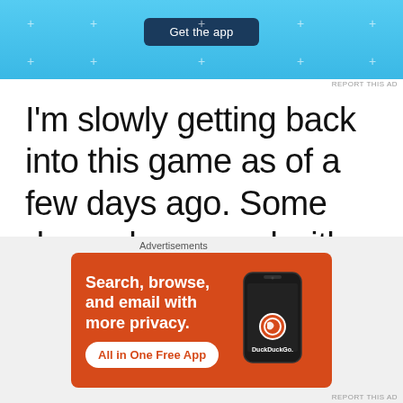[Figure (screenshot): Top advertisement banner with blue background and 'Get the app' button]
REPORT THIS AD
I'm slowly getting back into this game as of a few days ago. Some drama happened with my alliance. My mom, Dustyn, and I play the game. We are all in
Advertisements
[Figure (screenshot): DuckDuckGo advertisement: Search, browse, and email with more privacy. All in One Free App. Shows phone mockup with DuckDuckGo logo.]
REPORT THIS AD